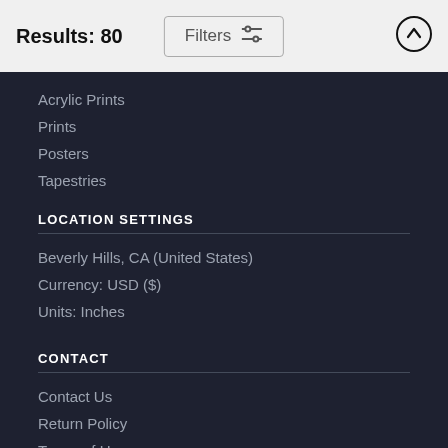Results: 80
Filters
Acrylic Prints
Prints
Posters
Tapestries
LOCATION SETTINGS
Beverly Hills, CA (United States)
Currency: USD ($)
Units: Inches
CONTACT
Contact Us
Return Policy
Terms of Use
Privacy Policy